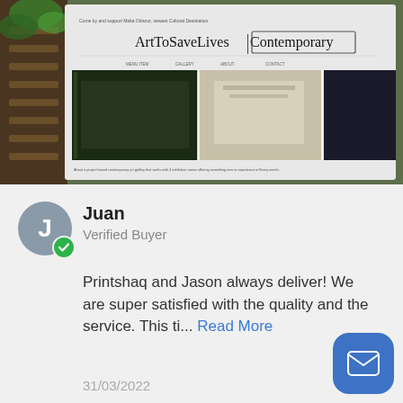[Figure (photo): Photo of ArtToSaveLives Contemporary art gallery website screenshot displayed on a surface, with wooden staircase and green plants visible in background]
Juan
Verified Buyer
Printshaq and Jason always deliver! We are super satisfied with the quality and the service. This ti... Read More
31/03/2022